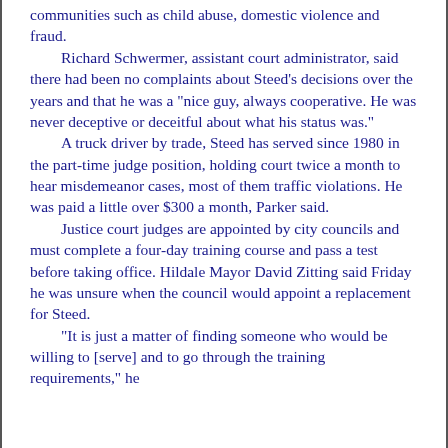communities such as child abuse, domestic violence and fraud.
    Richard Schwermer, assistant court administrator, said there had been no complaints about Steed's decisions over the years and that he was a "nice guy, always cooperative. He was never deceptive or deceitful about what his status was."
    A truck driver by trade, Steed has served since 1980 in the part-time judge position, holding court twice a month to hear misdemeanor cases, most of them traffic violations. He was paid a little over $300 a month, Parker said.
    Justice court judges are appointed by city councils and must complete a four-day training course and pass a test before taking office. Hildale Mayor David Zitting said Friday he was unsure when the council would appoint a replacement for Steed.
    "It is just a matter of finding someone who would be willing to [serve] and to go through the training requirements," he